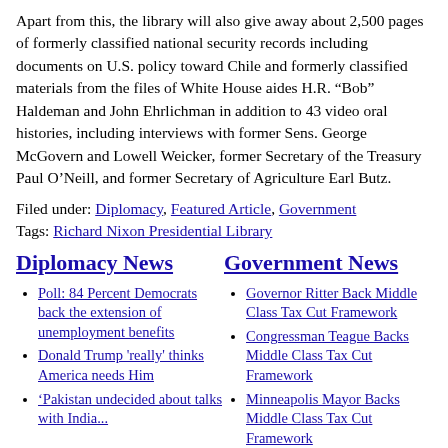Apart from this, the library will also give away about 2,500 pages of formerly classified national security records including documents on U.S. policy toward Chile and formerly classified materials from the files of White House aides H.R. “Bob” Haldeman and John Ehrlichman in addition to 43 video oral histories, including interviews with former Sens. George McGovern and Lowell Weicker, former Secretary of the Treasury Paul O’Neill, and former Secretary of Agriculture Earl Butz.
Filed under: Diplomacy, Featured Article, Government
Tags: Richard Nixon Presidential Library
Diplomacy News
Government News
Poll: 84 Percent Democrats back the extension of unemployment benefits
Donald Trump 'really' thinks America needs Him
'Pakistan undecided about talks with India...
Governor Ritter Back Middle Class Tax Cut Framework
Congressman Teague Backs Middle Class Tax Cut Framework
Minneapolis Mayor Backs Middle Class Tax Cut Framework